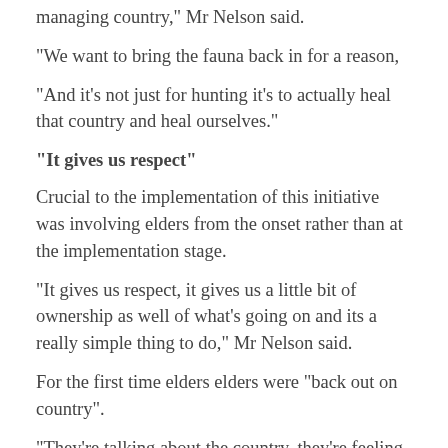managing country," Mr Nelson said.
“We want to bring the fauna back in for a reason,
“And it’s not just for hunting it’s to actually heal that country and heal ourselves.”
“It gives us respect”
Crucial to the implementation of this initiative was involving elders from the onset rather than at the implementation stage.
“It gives us respect, it gives us a little bit of ownership as well of what’s going on and its a really simple thing to do,” Mr Nelson said.
For the first time elders elders were “back out on country”.
“They’re talking about the country, they’re feeling different things. They’re connecting and were learning